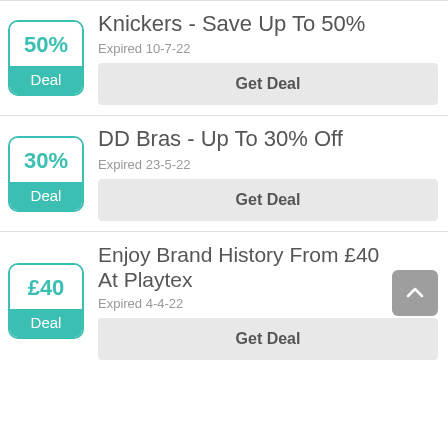[Figure (infographic): Deal badge showing 50% with teal color and Deal label]
Knickers - Save Up To 50%
Expired 10-7-22
Get Deal
[Figure (infographic): Deal badge showing 30% with teal color and Deal label]
DD Bras - Up To 30% Off
Expired 23-5-22
Get Deal
[Figure (infographic): Deal badge showing £40 with teal color and Deal label]
Enjoy Brand History From £40 At Playtex
Expired 4-4-22
Get Deal